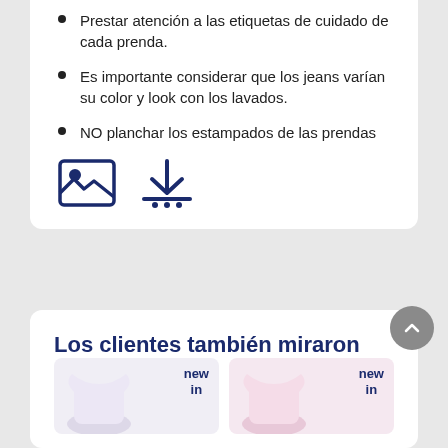Prestar atención a las etiquetas de cuidado de cada prenda.
Es importante considerar que los jeans varían su color y look con los lavados.
NO planchar los estampados de las prendas
[Figure (illustration): Image icon and download icon in dark navy blue]
Los clientes también miraron
[Figure (photo): Two product thumbnails with 'new in' badges showing clothing items on light purple and pink backgrounds]